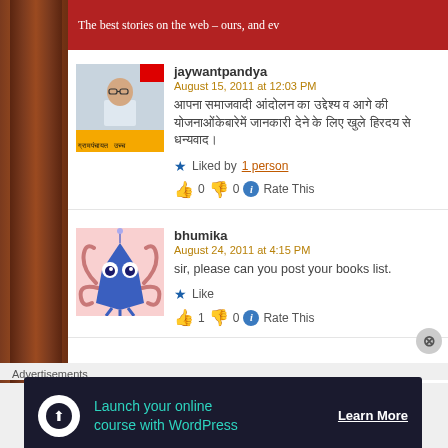The best stories on the web – ours, and ev
jaywantpandya
August 15, 2011 at 12:03 PM
[Devanagari text]
Liked by 1 person
👍 0 👎 0 ℹ Rate This
bhumika
August 24, 2011 at 4:15 PM
sir, please can you post your books list.
Like
👍 1 👎 0 ℹ Rate This
Advertisements
[Figure (infographic): Advertisement banner: Launch your online course with WordPress – Learn More]